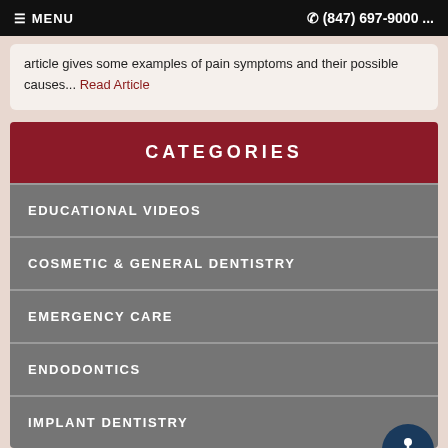≡ MENU   ☎ (847) 697-9000 ...
article gives some examples of pain symptoms and their possible causes... Read Article
CATEGORIES
EDUCATIONAL VIDEOS
COSMETIC & GENERAL DENTISTRY
EMERGENCY CARE
ENDODONTICS
IMPLANT DENTISTRY